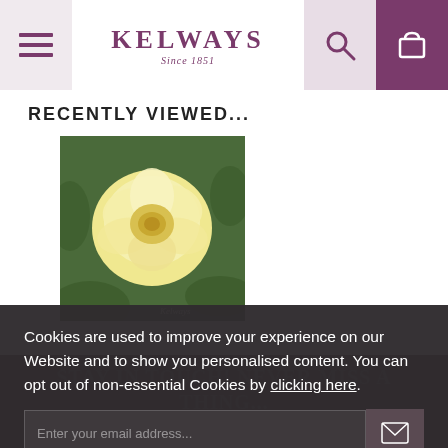Kelways Since 1851
RECENTLY VIEWED...
[Figure (photo): Yellow/cream rose flower with green foliage background, Kelways watermark in bottom right corner]
STAY IN TOUCH! NEVER MISS A THING...
Cookies are used to improve your experience on our Website and to show you personalised content. You can opt out of non-essential Cookies by clicking here.
ACCEPT AND CLOSE